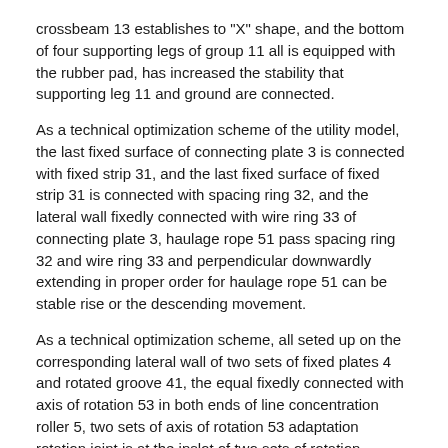crossbeam 13 establishes to "X" shape, and the bottom of four supporting legs of group 11 all is equipped with the rubber pad, has increased the stability that supporting leg 11 and ground are connected.
As a technical optimization scheme of the utility model, the last fixed surface of connecting plate 3 is connected with fixed strip 31, and the last fixed surface of fixed strip 31 is connected with spacing ring 32, and the lateral wall fixedly connected with wire ring 33 of connecting plate 3, haulage rope 51 pass spacing ring 32 and wire ring 33 and perpendicular downwardly extending in proper order for haulage rope 51 can be stable rise or the descending movement.
As a technical optimization scheme, all seted up on the corresponding lateral wall of two sets of fixed plates 4 and rotated groove 41, the equal fixedly connected with axis of rotation 53 in both ends of line concentration roller 5, two sets of axis of rotation 53 adaptation rotation joint is at the inslot of two sets of rotation grooves 41 respectively for line concentration roller 5 stable rotation is between two sets of fixed plates 4.